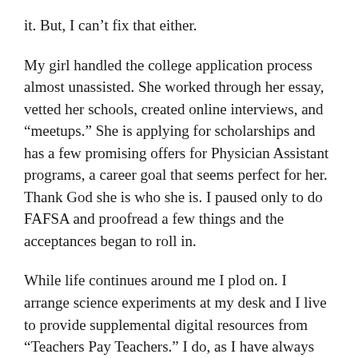it. But, I can’t fix that either.
My girl handled the college application process almost unassisted. She worked through her essay, vetted her schools, created online interviews, and “meetups.” She is applying for scholarships and has a few promising offers for Physician Assistant programs, a career goal that seems perfect for her. Thank God she is who she is. I paused only to do FAFSA and proofread a few things and the acceptances began to roll in.
While life continues around me I plod on. I arrange science experiments at my desk and I live to provide supplemental digital resources from “Teachers Pay Teachers.” I do, as I have always been taught, “the best I can with what I have right now.”